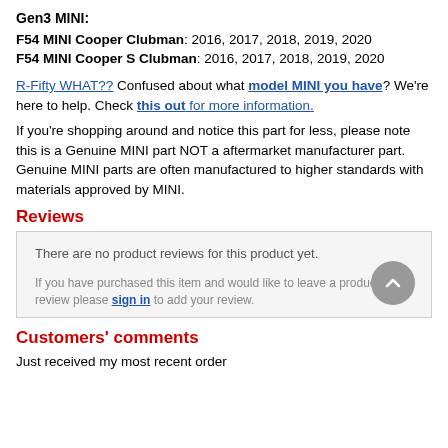Gen3 MINI:
F54 MINI Cooper Clubman: 2016, 2017, 2018, 2019, 2020
F54 MINI Cooper S Clubman: 2016, 2017, 2018, 2019, 2020
R-Fifty WHAT?? Confused about what model MINI you have? We're here to help. Check this out for more information.
If you're shopping around and notice this part for less, please note this is a Genuine MINI part NOT a aftermarket manufacturer part. Genuine MINI parts are often manufactured to higher standards with materials approved by MINI.
Reviews
There are no product reviews for this product yet.
If you have purchased this item and would like to leave a product review please sign in to add your review.
Customers' comments
Just received my most recent order